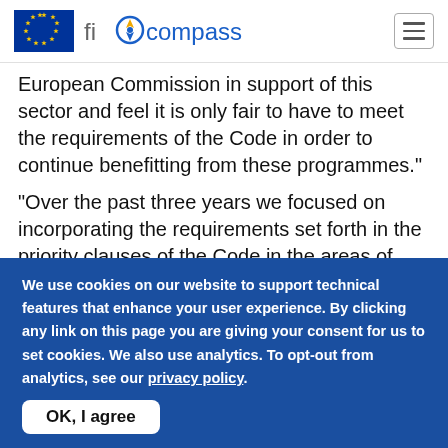fi-compass
European Commission in support of this sector and feel it is only fair to have to meet the requirements of the Code in order to continue benefitting from these programmes."
"Over the past three years we focused on incorporating the requirements set forth in the priority clauses of the Code in the areas of customer & investor relations, governance, risk
We use cookies on our website to support technical features that enhance your user experience. By clicking any link on this page you are giving your consent for us to set cookies. We also use analytics. To opt-out from analytics, see our privacy policy.
OK, I agree